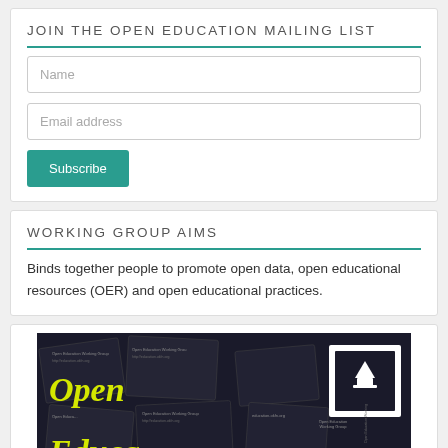JOIN THE OPEN EDUCATION MAILING LIST
Name
Email address
Subscribe
WORKING GROUP AIMS
Binds together people to promote open data, open educational resources (OER) and open educational practices.
[Figure (photo): Open Education Working Group stickers/cards with yellow stylized text reading 'Open Education' on dark background, with logos and website URLs visible]